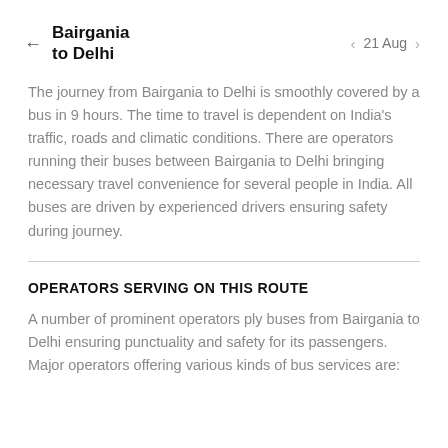Bairgania to Delhi   21 Aug
The journey from Bairgania to Delhi is smoothly covered by a bus in 9 hours. The time to travel is dependent on India's traffic, roads and climatic conditions. There are operators running their buses between Bairgania to Delhi bringing necessary travel convenience for several people in India. All buses are driven by experienced drivers ensuring safety during journey.
OPERATORS SERVING ON THIS ROUTE
A number of prominent operators ply buses from Bairgania to Delhi ensuring punctuality and safety for its passengers. Major operators offering various kinds of bus services are: